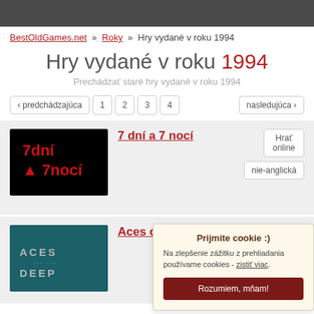BestOldGames.net » Roky » Hry vydané v roku 1994
Hry vydané v roku 1994
Prechádzať staré hry vydané v roku 1994
‹ predchádzajúca  1 2 3 4  nasledujúca ›
[Figure (screenshot): Game thumbnail for 7 dní a 7 nocí - black background with red text '7dní 7nocí']
7 dní a 7 nocí
Hrať online
nie-anglická
[Figure (screenshot): Game thumbnail for Aces of the Deep - teal background with stylized text 'Aces Deep']
Aces of the Deep
Prijmite cookie :)
Na zlepšenie zážitku z prehliadania používame cookies - zistiť viac.
Rozumiem, mňam!